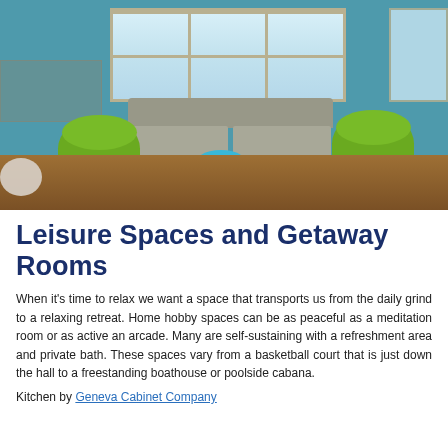[Figure (photo): Interior room photo showing a leisure/hobby space with teal walls, large windows, a grey sofa, two round green chairs, blue ottomans, and hardwood floors]
Leisure Spaces and Getaway Rooms
When it’s time to relax we want a space that transports us from the daily grind to a relaxing retreat. Home hobby spaces can be as peaceful as a meditation room or as active an arcade. Many are self-sustaining with a refreshment area and private bath. These spaces vary from a basketball court that is just down the hall to a freestanding boathouse or poolside cabana.
Kitchen by Geneva Cabinet Company